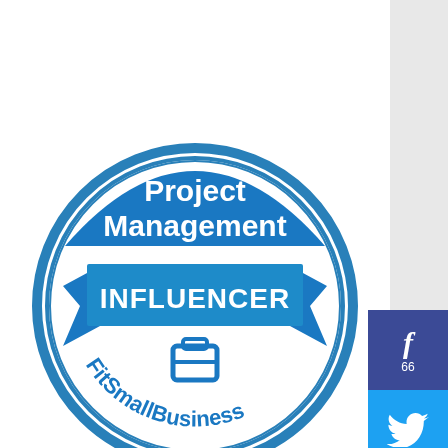[Figure (logo): Project Management Influencer badge from FitSmallBusiness — circular blue badge with 'Project Management' at top, 'INFLUENCER' on a blue ribbon banner in the middle, briefcase icon, and 'FitSmallBusiness' text around the bottom arc.]
[Figure (infographic): Social media share buttons on the right sidebar: Facebook button (dark blue) with 'f' icon and count '66', Twitter button (light blue) with bird icon, Pinterest button (red) with 'p' icon.]
Upcoming Programs
[Figure (other): Solid green rectangle/banner, likely a placeholder or colored header for an upcoming program listing.]